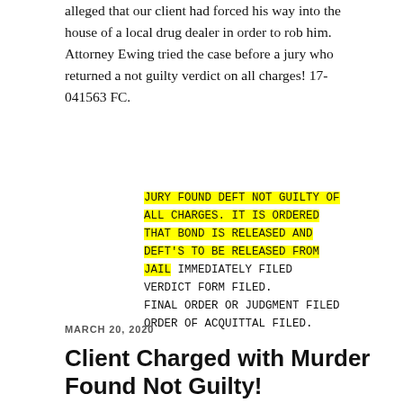alleged that our client had forced his way into the house of a local drug dealer in order to rob him. Attorney Ewing tried the case before a jury who returned a not guilty verdict on all charges! 17-041563 FC.
JURY FOUND DEFT NOT GUILTY OF ALL CHARGES. IT IS ORDERED THAT BOND IS RELEASED AND DEFT'S TO BE RELEASED FROM JAIL IMMEDIATELY FILED VERDICT FORM FILED. FINAL ORDER OR JUDGMENT FILED ORDER OF ACQUITTAL FILED.
MARCH 20, 2020
Client Charged with Murder Found Not Guilty!